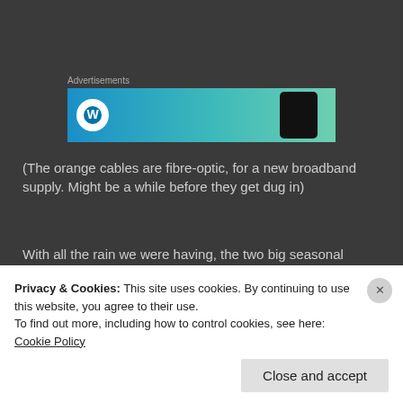[Figure (screenshot): Advertisement banner with WordPress logo and phone graphic, blue-teal gradient background]
(The orange cables are fibre-optic, for a new broadband supply. Might be a while before they get dug in)
With all the rain we were having, the two big seasonal springs had appeared at the Cove:
[Figure (photo): Partially visible photo strip at bottom of main content area]
Privacy & Cookies: This site uses cookies. By continuing to use this website, you agree to their use.
To find out more, including how to control cookies, see here: Cookie Policy